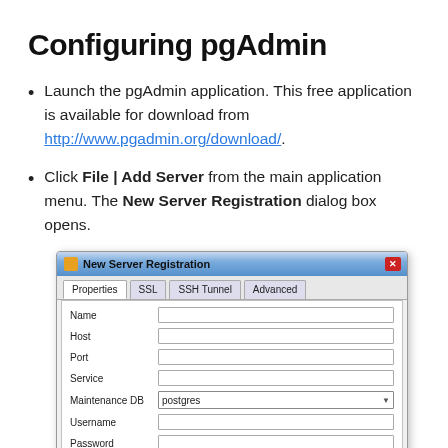Configuring pgAdmin
Launch the pgAdmin application. This free application is available for download from http://www.pgadmin.org/download/.
Click File | Add Server from the main application menu. The New Server Registration dialog box opens.
[Figure (screenshot): New Server Registration dialog box in pgAdmin showing Properties, SSL, SSH Tunnel, and Advanced tabs. Form fields visible: Name, Host, Port, Service, Maintenance DB (with value 'postgres'), Username, Password.]